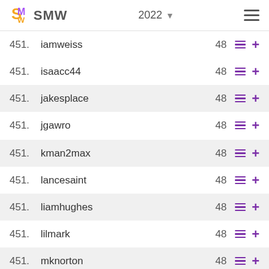SMW 2022
451. iamweiss 48
451. isaacc44 48
451. jakesplace 48
451. jgawro 48
451. kman2max 48
451. lancesaint 48
451. liamhughes 48
451. lilmark 48
451. mknorton 48
451. moviesblow 48